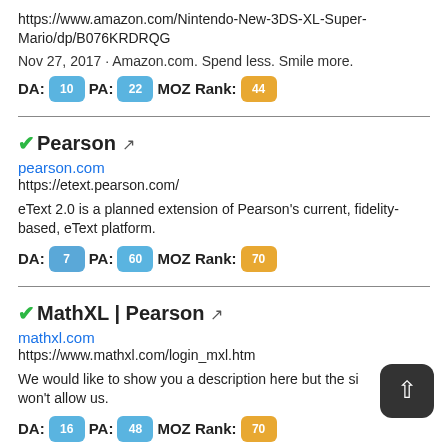https://www.amazon.com/Nintendo-New-3DS-XL-Super-Mario/dp/B076KRDRQG
Nov 27, 2017 · Amazon.com. Spend less. Smile more.
DA: 10  PA: 22  MOZ Rank: 44
✔Pearson 🔗
pearson.com
https://etext.pearson.com/
eText 2.0 is a planned extension of Pearson's current, fidelity-based, eText platform.
DA: 7  PA: 60  MOZ Rank: 70
✔MathXL | Pearson 🔗
mathxl.com
https://www.mathxl.com/login_mxl.htm
We would like to show you a description here but the site won't allow us.
DA: 16  PA: 48  MOZ Rank: 70